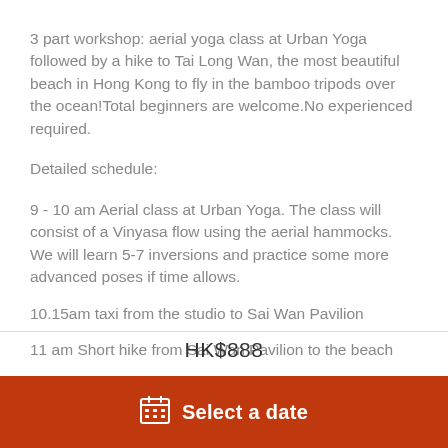3 part workshop: aerial yoga class at Urban Yoga followed by a hike to Tai Long Wan, the most beautiful beach in Hong Kong to fly in the bamboo tripods over the ocean!Total beginners are welcome.No experienced required.
Detailed schedule:
9 - 10 am Aerial class at Urban Yoga. The class will consist of a Vinyasa flow using the aerial hammocks. We will learn 5-7 inversions and practice some more advanced poses if time allows.
10.15am taxi from the studio to Sai Wan Pavilion
11 am Short hike from Sai Wan Pavilion to the beach
HK$888
Select a date